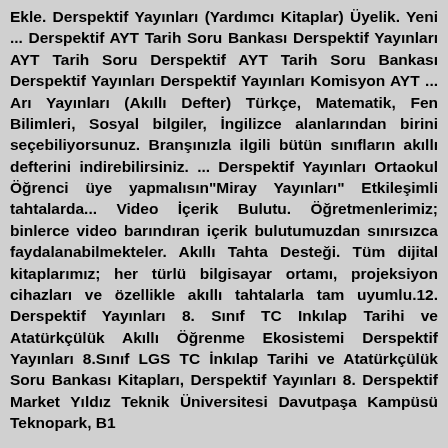Ekle. Derspektif Yayınları (Yardımcı Kitaplar) Üyelik. Yeni ... Derspektif AYT Tarih Soru Bankası Derspektif Yayınları AYT Tarih Soru Derspektif AYT Tarih Soru Bankası Derspektif Yayınları Derspektif Yayınları Komisyon AYT ... Arı Yayınları (Akıllı Defter) Türkçe, Matematik, Fen Bilimleri, Sosyal bilgiler, İngilizce alanlarından birini seçebiliyorsunuz. Branşınızla ilgili bütün sınıfların akıllı defterini indirebilirsiniz. ... Derspektif Yayınları Ortaokul Öğrenci üye yapmalısın"Miray Yayınları" Etkileşimli tahtalarda... Video İçerik Bulutu. Öğretmenlerimiz; binlerce video barındıran içerik bulutumuzdan sınırsızca faydalanabilmekteler. Akıllı Tahta Desteği. Tüm dijital kitaplarımız; her türlü bilgisayar ortamı, projeksiyon cihazları ve özellikle akıllı tahtalarla tam uyumlu.12. Derspektif Yayınları 8. Sınıf TC Inkılap Tarihi ve Atatürkçülük Akıllı Öğrenme Ekosistemi Derspektif Yayınları 8.Sınıf LGS TC İnkılap Tarihi ve Atatürkçülük Soru Bankası Kitapları, Derspektif Yayınları 8. Derspektif Market Yıldız Teknik Üniversitesi Davutpaşa Kampüsü Teknopark, B1